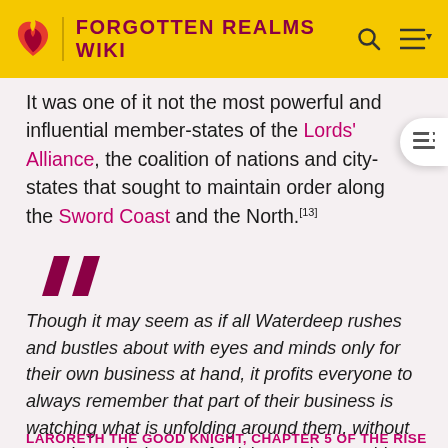FORGOTTEN REALMS WIKI
It was one of it not the most powerful and influential member-states of the Lords' Alliance, the coalition of nations and city-states that sought to maintain order along the Sword Coast and the North.[13]
Though it may seem as if all Waterdeep rushes and bustles about with eyes and minds only for their own business at hand, it profits everyone to always remember that part of their business is watching what is unfolding around them, without seeming to, in hopes of seizing on the next big thing, the next road to riches. Even if only to sneer, Waterdeep always watches.
LARORETH THE GOOD KNIGHT, CHAPTER 5 OF THE RISE...